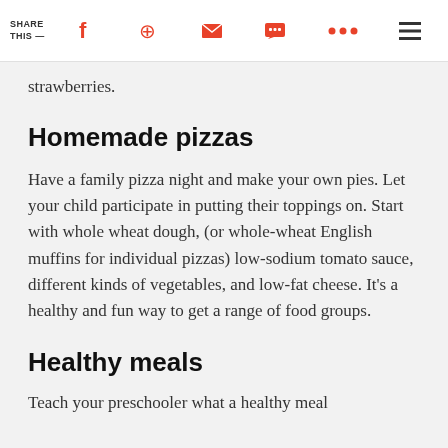SHARE THIS — [social share icons: Facebook, Pinterest, Email, Message, More, Menu]
strawberries.
Homemade pizzas
Have a family pizza night and make your own pies. Let your child participate in putting their toppings on. Start with whole wheat dough, (or whole-wheat English muffins for individual pizzas) low-sodium tomato sauce, different kinds of vegetables, and low-fat cheese. It's a healthy and fun way to get a range of food groups.
Healthy meals
Teach your preschooler what a healthy meal